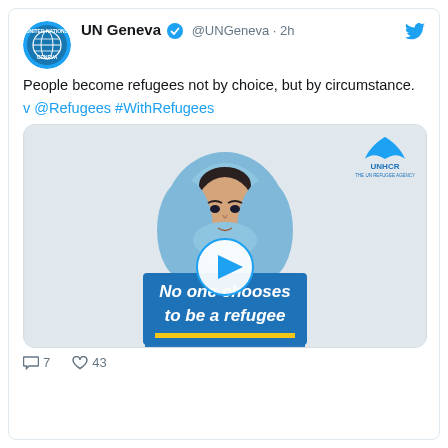[Figure (screenshot): Tweet from UN Geneva account showing avatar: circular UN Geneva logo with blue background]
UN Geneva ✓ @UNGeneva · 2h
People become refugees not by choice, but by circumstance.
v @Refugees #WithRefugees
[Figure (illustration): UNHCR illustration of a woman wearing a blue hijab holding a blue sign that reads 'No one chooses to be a refugee' with a yellow underline. A video play button circle is overlaid in the center. UNHCR logo in top right corner.]
7  43